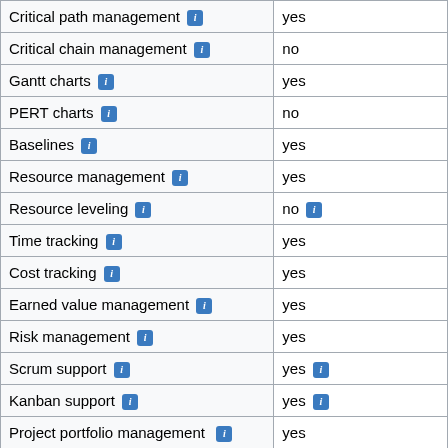| Feature | Value |
| --- | --- |
| Critical path management [i] | yes |
| Critical chain management [i] | no |
| Gantt charts [i] | yes |
| PERT charts [i] | no |
| Baselines [i] | yes |
| Resource management [i] | yes |
| Resource leveling [i] | no [i] |
| Time tracking [i] | yes |
| Cost tracking [i] | yes |
| Earned value management [i] | yes |
| Risk management [i] | yes |
| Scrum support [i] | yes [i] |
| Kanban support [i] | yes [i] |
| Project portfolio management [i] | yes |
| Issue Management Properties (section header) |  |
| Hierarchical issues | yes |